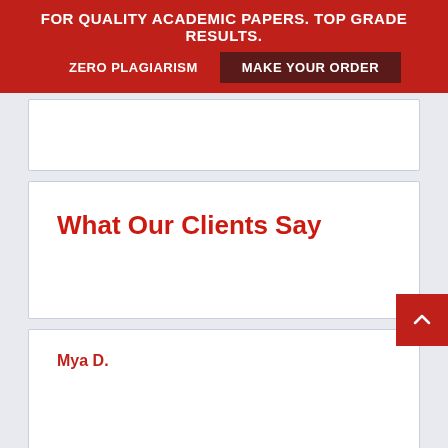FOR QUALITY ACADEMIC PAPERS. TOP GRADE RESULTS. ZERO PLAGIARISM MAKE YOUR ORDER
What Our Clients Say
Mya D.
A+ paper is what I got from this guys. They are just Great!